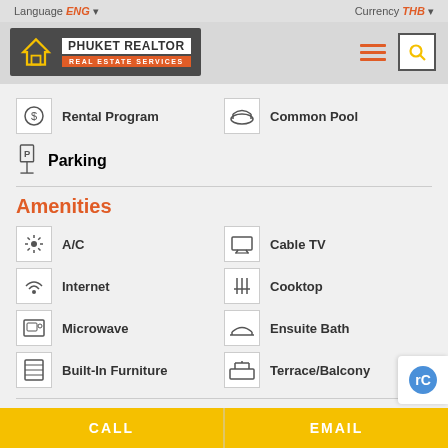Language ENG  Currency THB
[Figure (logo): Phuket Realtor Real Estate Services logo with house icon]
Rental Program
Common Pool
Parking
Amenities
A/C
Cable TV
Internet
Cooktop
Microwave
Ensuite Bath
Built-In Furniture
Terrace/Balcony
CALL  EMAIL